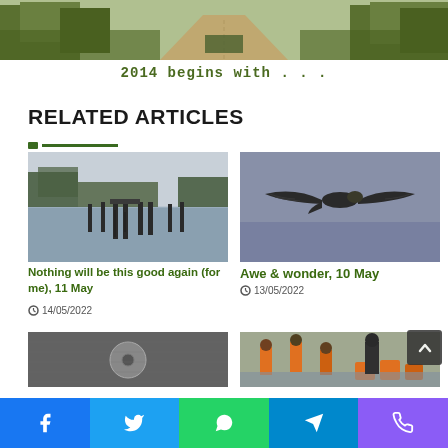[Figure (photo): Top portion of a page showing a dirt road through a forest/trees]
2014 begins with . . .
RELATED ARTICLES
[Figure (photo): Marina or lake scene with dock/pier and reflections in still water]
Nothing will be this good again (for me), 11 May
14/05/2022
[Figure (photo): Bird in flight against a grey sky]
Awe & wonder, 10 May
13/05/2022
[Figure (photo): Close-up of what appears to be a washer or disc on a textured surface]
[Figure (photo): Workers in orange vests on a dock or waterfront area]